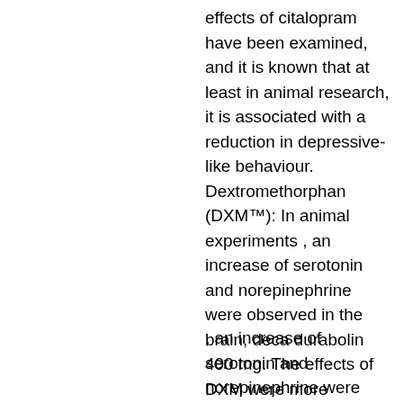effects of citalopram have been examined, and it is known that at least in animal research, it is associated with a reduction in depressive-like behaviour. Dextromethorphan (DXM™): In animal experiments , an increase of serotonin and norepinephrine were observed in the brain, deca durabolin 400 mg. The effects of DXM were more pronounced in the rat brain , after it was taken with an injection of the anesthetic phencyclidine (PCP), than when DXM was taken without it, deca durabolin fuerza. Moreover, an interaction between the monoamine and GABA systems plays a role in the effect of DXM on serotonin and norepinephrine release.
, an increase of serotonin and norepinephrine were observed in the brain. The effects of were more pronounced in the rat brain, after it was taken with an injection of the anesthetic phencyclidine (PCP),